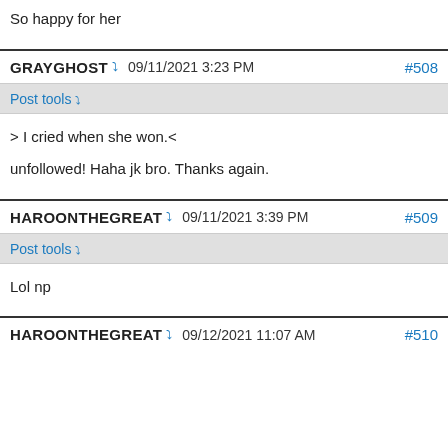So happy for her
GRAYGHOST  09/11/2021 3:23 PM  #508
Post tools
> I cried when she won.<
unfollowed! Haha jk bro. Thanks again.
HAROONTHEGREAT  09/11/2021 3:39 PM  #509
Post tools
Lol np
HAROONTHEGREAT  09/12/2021 11:07 AM  #510